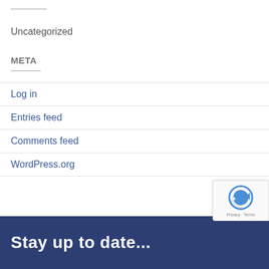Uncategorized
META
Log in
Entries feed
Comments feed
WordPress.org
Stay up to date...